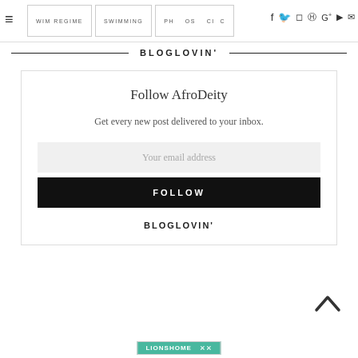≡  WIM REGIME  SWIMMING  PHYSIC
BLOGLOVIN'
Follow AfroDeity
Get every new post delivered to your inbox.
Your email address
FOLLOW
BLOGLOVIN'
[Figure (logo): LIONSHOME logo at bottom of page]